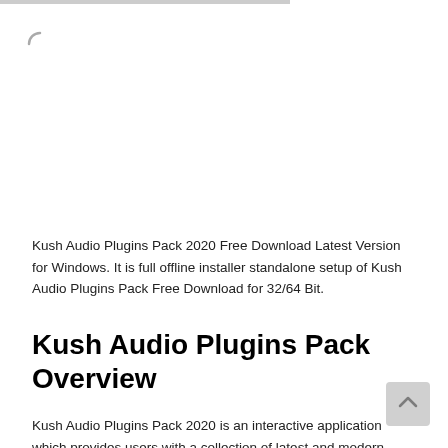[Figure (other): Loading spinner icon in the top-left area of the page]
Kush Audio Plugins Pack 2020 Free Download Latest Version for Windows. It is full offline installer standalone setup of Kush Audio Plugins Pack Free Download for 32/64 Bit.
Kush Audio Plugins Pack Overview
Kush Audio Plugins Pack 2020 is an interactive application which provides users with a collection of latest and modern audio plugins that are designed to produce interesting